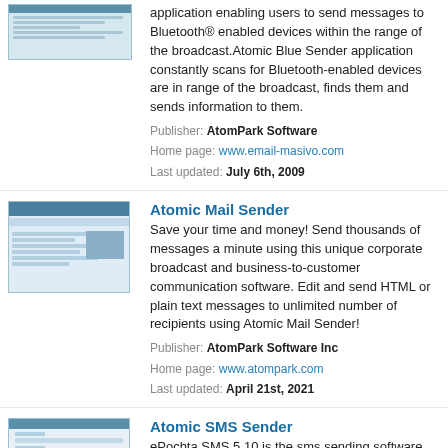[Figure (screenshot): Screenshot thumbnail of Atomic Blue Sender application]
application enabling users to send messages to Bluetooth® enabled devices within the range of the broadcast.Atomic Blue Sender application constantly scans for Bluetooth-enabled devices are in range of the broadcast, finds them and sends information to them.
Publisher: AtomPark Software
Home page: www.email-masivo.com
Last updated: July 6th, 2009
Atomic Mail Sender
[Figure (screenshot): Screenshot thumbnail of Atomic Mail Sender application]
Save your time and money! Send thousands of messages a minute using this unique corporate broadcast and business-to-customer communication software. Edit and send HTML or plain text messages to unlimited number of recipients using Atomic Mail Sender!
Publisher: AtomPark Software Inc
Home page: www.atompark.com
Last updated: April 21st, 2021
Atomic SMS Sender
[Figure (screenshot): Screenshot thumbnail of Atomic SMS Sender application]
ePochta SMS 5.10 is the sms sending software allowing for short text messages to be sent right from your computer to cell phones of your customers or friends world wide.